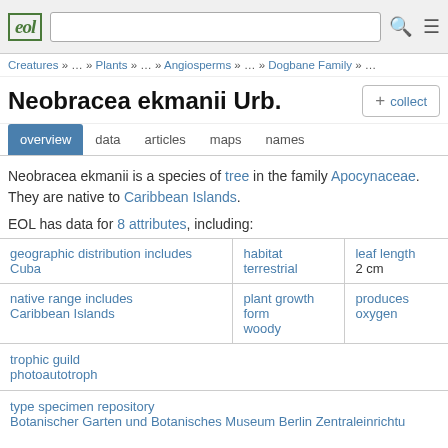eol | [search bar] | search icon | menu icon
Creatures » … » Plants » … » Angiosperms » … » Dogbane Family » …
Neobracea ekmanii Urb.
+ collect
overview  data  articles  maps  names
Neobracea ekmanii is a species of tree in the family Apocynaceae. They are native to Caribbean Islands.
EOL has data for 8 attributes, including:
|  |  |  |
| --- | --- | --- |
| geographic distribution includes
Cuba | habitat
terrestrial | leaf length
2 cm |
| native range includes
Caribbean Islands | plant growth form
woody | produces
oxygen |
trophic guild
photoautotroph
type specimen repository
Botanischer Garten und Botanisches Museum Berlin Zentraleinrichtu